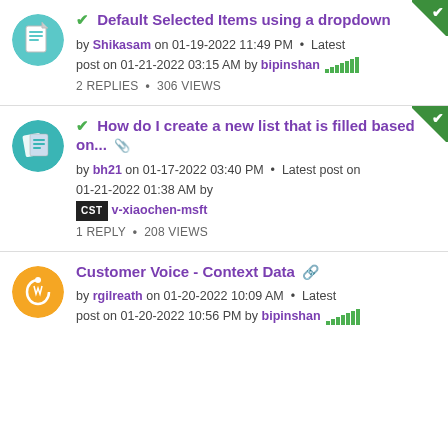Default Selected Items using a dropdown — by Shikasam on 01-19-2022 11:49 PM · Latest post on 01-21-2022 03:15 AM by bipinshan — 2 REPLIES · 306 VIEWS
How do I create a new list that is filled based on... — by bh21 on 01-17-2022 03:40 PM · Latest post on 01-21-2022 01:38 AM by v-xiaochen-msft — 1 REPLY · 208 VIEWS
Customer Voice - Context Data — by rgilreath on 01-20-2022 10:09 AM · Latest post on 01-20-2022 10:56 PM by bipinshan